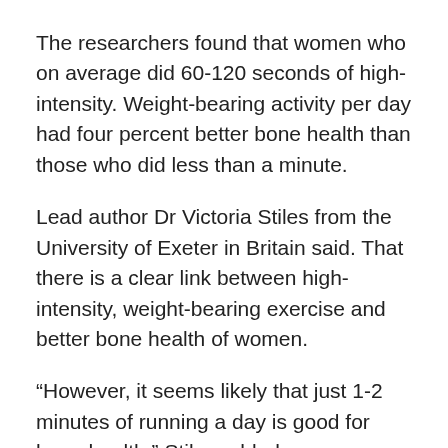The researchers found that women who on average did 60-120 seconds of high-intensity. Weight-bearing activity per day had four percent better bone health than those who did less than a minute.
Lead author Dr Victoria Stiles from the University of Exeter in Britain said. That there is a clear link between high-intensity, weight-bearing exercise and better bone health of women.
“However, it seems likely that just 1-2 minutes of running a day is good for bone health,” Stiles added.
Advertisement
They looked at data on more than 2,500 women and compared activity levels (measured by wrist-worn monitors) with bone health (measured by an